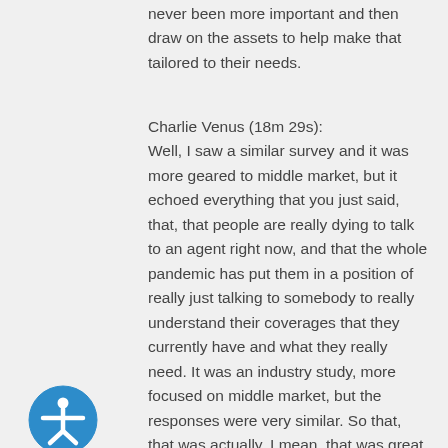never been more important and then draw on the assets to help make that tailored to their needs.
Charlie Venus (18m 29s):
Well, I saw a similar survey and it was more geared to middle market, but it echoed everything that you just said, that, that people are really dying to talk to an agent right now, and that the whole pandemic has put them in a position of really just talking to somebody to really understand their coverages that they currently have and what they really need. It was an industry study, more focused on middle market, but the responses were very similar. So that, that was actually, I mean, that was great, Matt, just giving that recap, but I did want to get back to what you, you know, from a marketing standpoint, what you have that an agent can use when they are looking to, for new business, in terms of doing a, you know, a marketing campaign
[Figure (illustration): Accessibility icon: blue circle with white human figure with outstretched arms]